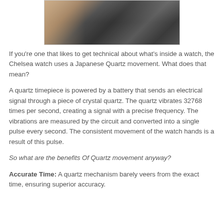[Figure (photo): Close-up photo of a watch back or case, showing dark metallic surface with gold/rose-gold rim visible at top]
If you're one that likes to get technical about what's inside a watch, the Chelsea watch uses a Japanese Quartz movement. What does that mean?
A quartz timepiece is powered by a battery that sends an electrical signal through a piece of crystal quartz. The quartz vibrates 32768 times per second, creating a signal with a precise frequency. The vibrations are measured by the circuit and converted into a single pulse every second. The consistent movement of the watch hands is a result of this pulse.
So what are the benefits Of Quartz movement anyway?
Accurate Time: A quartz mechanism barely veers from the exact time, ensuring superior accuracy.